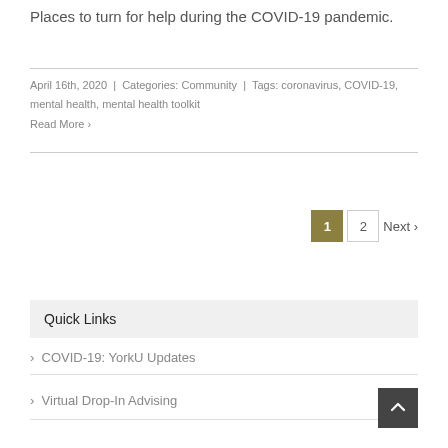Places to turn for help during the COVID-19 pandemic.
April 16th, 2020  |  Categories: Community  |  Tags: coronavirus, COVID-19, mental health, mental health toolkit
Read More >
1  2  Next >
Quick Links
> COVID-19: YorkU Updates
> Virtual Drop-In Advising